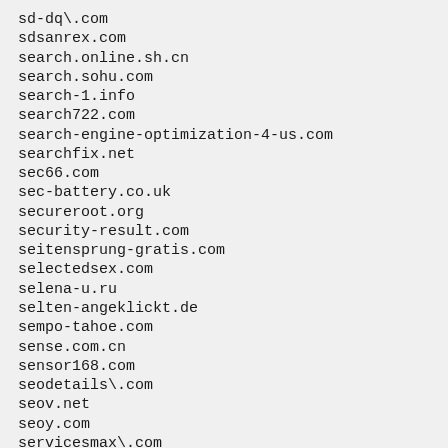sd-dq\.com
sdsanrex.com
search.online.sh.cn
search.sohu.com
search-1.info
search722.com
search-engine-optimization-4-us.com
searchfix.net
sec66.com
sec-battery.co.uk
secureroot.org
security-result.com
seitensprung-gratis.com
selectedsex.com
selena-u.ru
selten-angeklickt.de
sempo-tahoe.com
sense.com.cn
sensor168.com
seodetails\.com
seov.net
seoy.com
servicesmax\.com
se-traf.com
seven-card-stud.biz